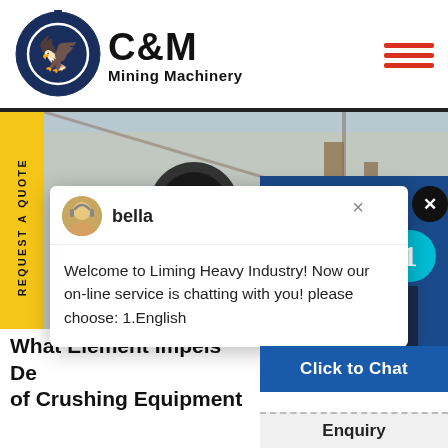[Figure (logo): C&M Mining Machinery logo with eagle-gear emblem in navy blue circle, and bold C&M text with Mining Machinery subtitle]
[Figure (illustration): Hamburger menu icon with three red horizontal lines]
[Figure (photo): Industrial mining/crushing equipment machinery photo background]
REQUEST A QUOTE
[Figure (screenshot): Chat popup with avatar of bella agent. Message: Welcome to Liming Heavy Industry! Now our on-line service is chatting with you! please choose: 1.English]
[Figure (photo): Female customer service agent wearing headset, smiling, with blue circle badge showing number 1]
Click to Chat
Enquiry
What Element Impels De... of Crushing Equipment...